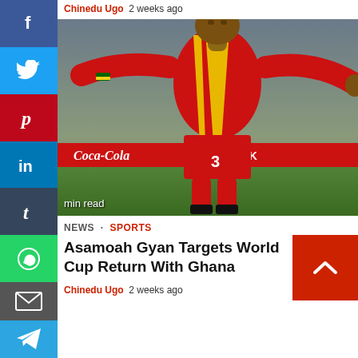Chinedu Ugo  2 weeks ago
[Figure (photo): Asamoah Gyan in Ghana red and yellow jersey celebrating with arms outstretched on a football pitch, Coca-Cola and Royal Bafokeng advertising boards visible in background]
min read
NEWS · SPORTS
Asamoah Gyan Targets World Cup Return With Ghana
Chinedu Ugo  2 weeks ago